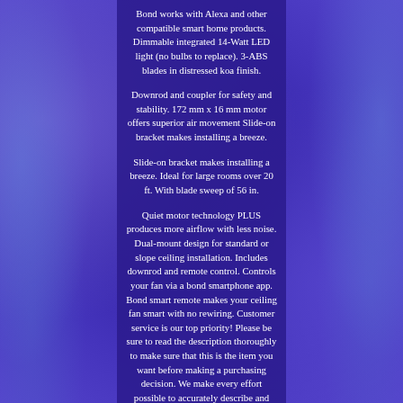Bond works with Alexa and other compatible smart home products. Dimmable integrated 14-Watt LED light (no bulbs to replace). 3-ABS blades in distressed koa finish.
Downrod and coupler for safety and stability. 172 mm x 16 mm motor offers superior air movement Slide-on bracket makes installing a breeze.
Slide-on bracket makes installing a breeze. Ideal for large rooms over 20 ft. With blade sweep of 56 in.
Quiet motor technology PLUS produces more airflow with less noise. Dual-mount design for standard or slope ceiling installation. Includes downrod and remote control. Controls your fan via a bond smartphone app. Bond smart remote makes your ceiling fan smart with no rewiring. Customer service is our top priority! Please be sure to read the description thoroughly to make sure that this is the item you want before making a purchasing decision. We make every effort possible to accurately describe and depict the items. Please be aware that slight variations in color may be due to differences in lighting and computer monitor resolutions. Thank you for shopping with us. If ordering electrical items outside of the U. Please note that they will come equipped with a standard U. You will need a